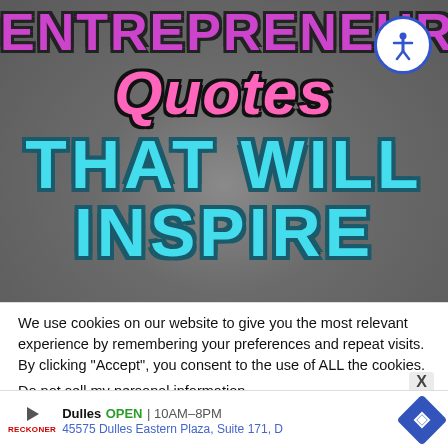[Figure (screenshot): Entrepreneur Quotes That Will Inspire – blog/article hero image with large stylized text over a blurred money background. Text reads: ENTREPRENEUR (pink/purple bold), Quotes (pink cursive script), THAT WILL (cyan bold 3D text), INSPIRE (cyan bold 3D text, partially visible). Accessibility icon in top right corner.]
We use cookies on our website to give you the most relevant experience by remembering your preferences and repeat visits. By clicking "Accept", you consent to the use of ALL the cookies.
Do not sell my personal information.
[Figure (screenshot): Advertisement banner for Dulles store: OPEN 10AM–8PM, 45575 Dulles Eastern Plaza, Suite 171, D]